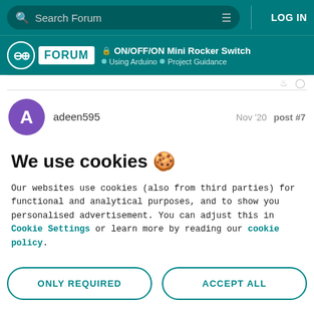Search Forum | LOG IN
ON/OFF/ON Mini Rocker Switch — Using Arduino > Project Guidance
adeen595   Nov '20   post #7
We use cookies 🍪
Our websites use cookies (also from third parties) for functional and analytical purposes, and to show you personalised advertisement. You can adjust this in Cookie Settings or learn more by reading our cookie policy.
ONLY REQUIRED   ACCEPT ALL